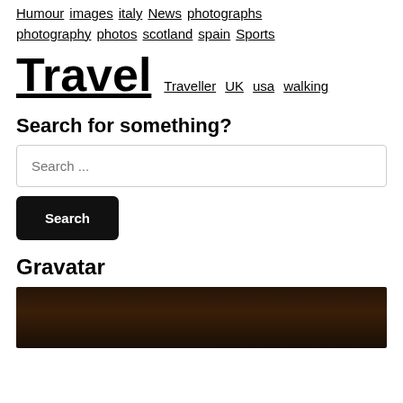Humour images italy News photographs photography photos scotland spain Sports
Travel Traveller UK usa walking
Search for something?
Search ...
Search
Gravatar
[Figure (photo): Dark gravatar profile image, partially visible at bottom of page]